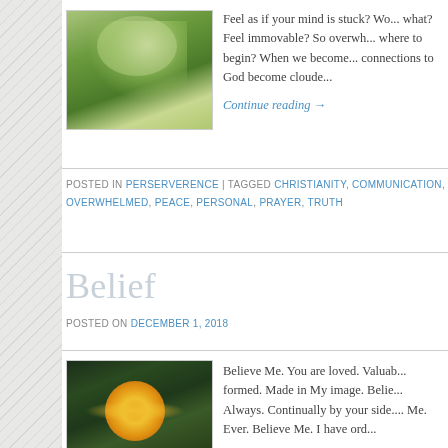[Figure (photo): Close-up photo of spider web among green grass blades with bokeh background]
Feel as if your mind is stuck? Wo... what? Feel immovable? So overwh... where to begin? When we become... connections to God become cloude...
Continue reading →
POSTED IN PERSERVERENCE | TAGGED CHRISTIANITY, COMMUNICATION, OVERWHELMED, PEACE, PERSONAL, PRAYER, TRUTH
Belief
POSTED ON DECEMBER 1, 2018
[Figure (photo): Photo of yellow sunflower against dark green leafy background]
Believe Me. You are loved. Valuab... formed. Made in My image. Belie... Always. Continually by your side.... Me. Ever. Believe Me. I have ord...